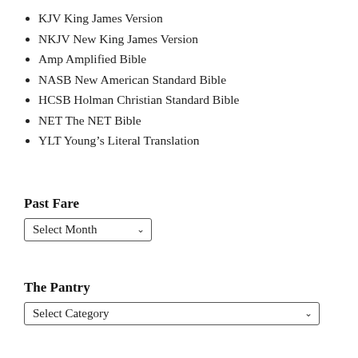KJV King James Version
NKJV New King James Version
Amp Amplified Bible
NASB New American Standard Bible
HCSB Holman Christian Standard Bible
NET The NET Bible
YLT Young's Literal Translation
Past Fare
Select Month
The Pantry
Select Category